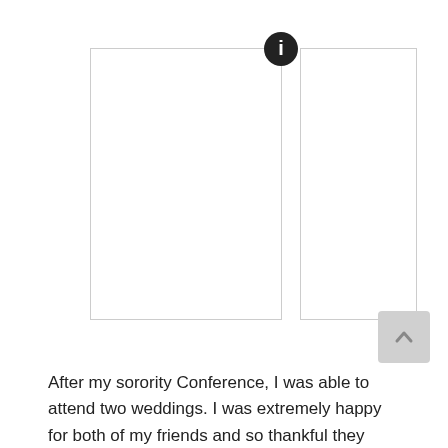[Figure (photo): Two side-by-side white placeholder image boxes, the left one larger with a dark circular info icon overlaid at its top-right corner, and a smaller right box partially visible.]
After my sorority Conference, I was able to attend two weddings. I was extremely happy for both of my friends and so thankful they wanted me to witness their special day. Wedding attire is fun but sometimes it can be difficult to decide on an outfit. Here are a